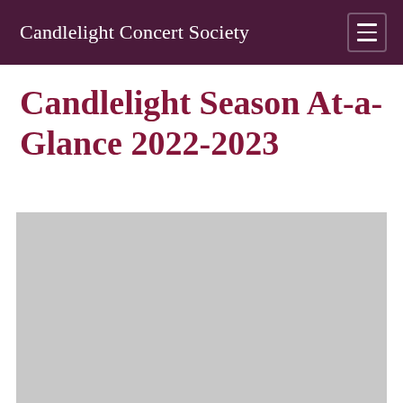Candlelight Concert Society
Candlelight Season At-a-Glance 2022-2023
[Figure (photo): Large gray placeholder image below the title, spanning most of the lower portion of the page]